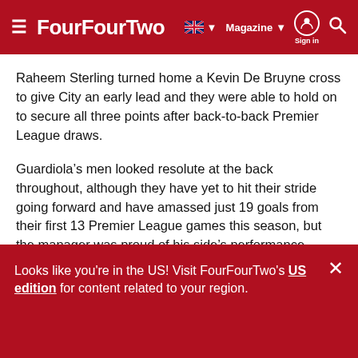FourFourTwo — Magazine — Sign in
Raheem Sterling turned home a Kevin De Bruyne cross to give City an early lead and they were able to hold on to secure all three points after back-to-back Premier League draws.
Guardiola’s men looked resolute at the back throughout, although they have yet to hit their stride going forward and have amassed just 19 goals from their first 13 Premier League games this season, but the manager was proud of his side’s performance.
Looks like you're in the US! Visit FourFourTwo's US edition for content related to your region.